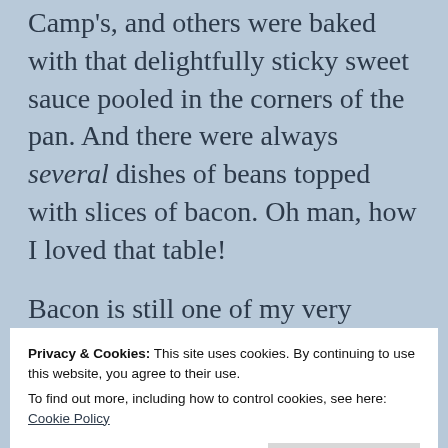Camp's, and others were baked with that delightfully sticky sweet sauce pooled in the corners of the pan. And there were always several dishes of beans topped with slices of bacon. Oh man, how I loved that table!
Bacon is still one of my very
Privacy & Cookies: This site uses cookies. By continuing to use this website, you agree to their use.
To find out more, including how to control cookies, see here: Cookie Policy
combination of smoky-salty-sweet